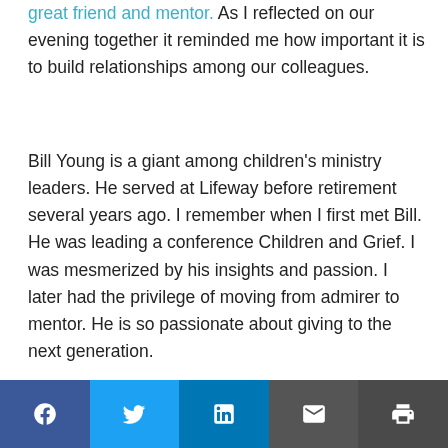great friend and mentor. As I reflected on our evening together it reminded me how important it is to build relationships among our colleagues.
Bill Young is a giant among children's ministry leaders. He served at Lifeway before retirement several years ago. I remember when I first met Bill. He was leading a conference Children and Grief. I was mesmerized by his insights and passion. I later had the privilege of moving from admirer to mentor. He is so passionate about giving to the next generation.
I want to be like that. I want to invest my life in those around me who are passionate about kids ministry. I